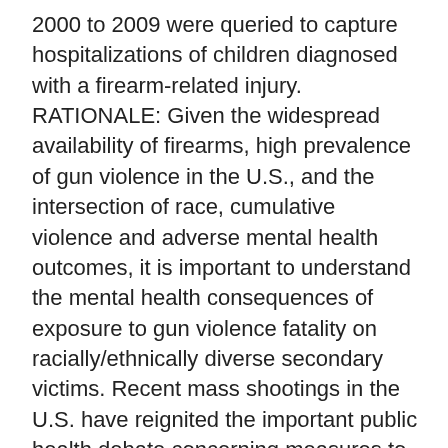2000 to 2009 were queried to capture hospitalizations of children diagnosed with a firearm-related injury. RATIONALE: Given the widespread availability of firearms, high prevalence of gun violence in the U.S., and the intersection of race, cumulative violence and adverse mental health outcomes, it is important to understand the mental health consequences of exposure to gun violence fatality on racially/ethnically diverse secondary victims. Recent mass shootings in the U.S. have reignited the important public health debate concerning measures to decrease the epidemic of gun violence. Editorialists and gun lobbyists have criticized the recent focus on gun violence, arguing that gun-related homicide rates have been stable in the last decade.